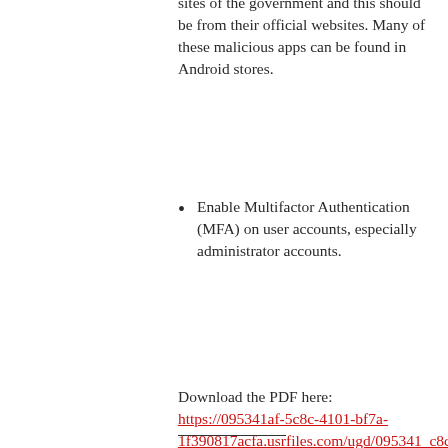sites of the government and this should be from their official websites. Many of these malicious apps can be found in Android stores.
Enable Multifactor Authentication (MFA) on user accounts, especially administrator accounts.
Download the PDF here: https://095341af-5c8c-4101-bf7a-1f390817acfa.usrfiles.com/ugd/095341_c8c40273e3584869859b228ccb3fea8a.pdf